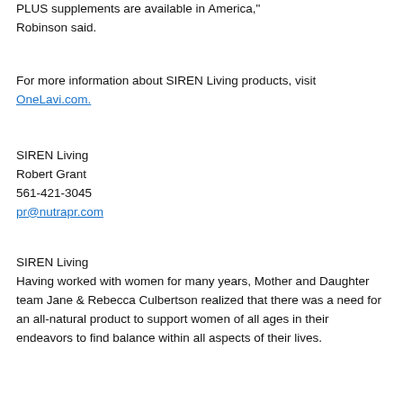PLUS supplements are available in America," Robinson said.
For more information about SIREN Living products, visit OneLavi.com.
SIREN Living
Robert Grant
561-421-3045
pr@nutrapr.com
SIREN Living
Having worked with women for many years, Mother and Daughter team Jane & Rebecca Culbertson realized that there was a need for an all-natural product to support women of all ages in their endeavors to find balance within all aspects of their lives.